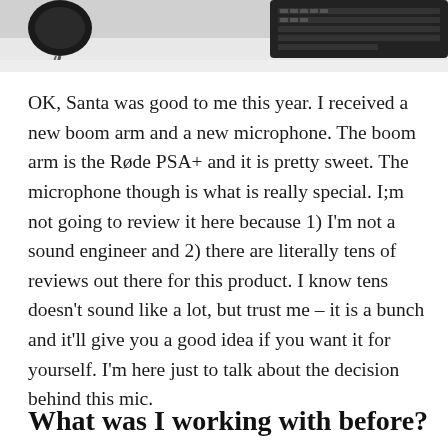[Figure (photo): Cropped desk scene showing a computer keyboard on the right side and what appears to be cables or peripherals on the left, viewed from above on a white desk surface.]
OK, Santa was good to me this year. I received a new boom arm and a new microphone. The boom arm is the Røde PSA+ and it is pretty sweet. The microphone though is what is really special. I;m not going to review it here because 1) I'm not a sound engineer and 2) there are literally tens of reviews out there for this product. I know tens doesn't sound like a lot, but trust me – it is a bunch and it'll give you a good idea if you want it for yourself. I'm here just to talk about the decision behind this mic.
What was I working with before?